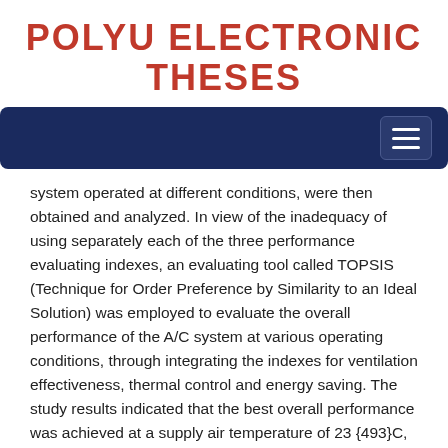POLYU ELECTRONIC THESES
[Figure (screenshot): Dark navy navigation bar with hamburger menu icon on the right side]
system operated at different conditions, were then obtained and analyzed. In view of the inadequacy of using separately each of the three performance evaluating indexes, an evaluating tool called TOPSIS (Technique for Order Preference by Similarity to an Ideal Solution) was employed to evaluate the overall performance of the A/C system at various operating conditions, through integrating the indexes for ventilation effectiveness, thermal control and energy saving. The study results indicated that the best overall performance was achieved at a supply air temperature of 23 {493}C, a supply air flow rate of 50 l/s and a fresh air flow rate of 13 l/s when the supply outlet was placed at 1.1 m above floor level (H1100 setting). Among the five height